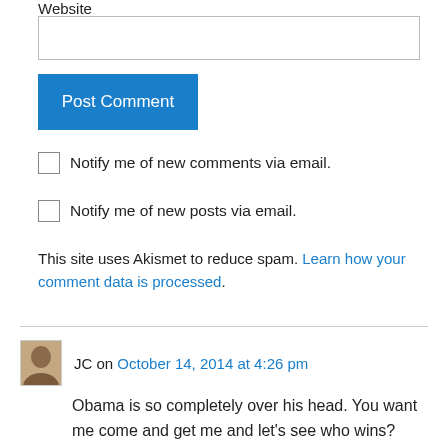Website
Post Comment
Notify me of new comments via email.
Notify me of new posts via email.
This site uses Akismet to reduce spam. Learn how your comment data is processed.
JC on October 14, 2014 at 4:26 pm
Obama is so completely over his head. You want me come and get me and let's see who wins?